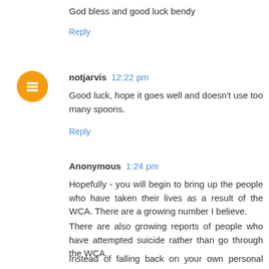God bless and good luck bendy
Reply
notjarvis 12:22 pm
Good luck, hope it goes well and doesn't use too many spoons.
Reply
Anonymous 1:24 pm
Hopefully - you will begin to bring up the people who have taken their lives as a result of the WCA. There are a growing number I believe.
There are also growing reports of people who have attempted suicide rather than go through the WCA.
Instead of falling back on your own personal interpretations of what benefits mean - how about focusing on the ground